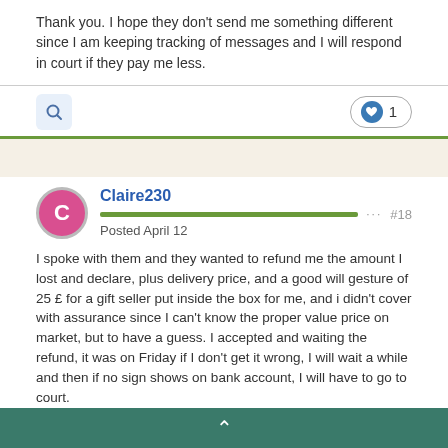Thank you. I hope they don't send me something different since I am keeping tracking of messages and I will respond in court if they pay me less.
[Figure (other): Search icon button and a like/heart pill showing 1 like]
Claire230
Posted April 12

I spoke with them and they wanted to refund me the amount I lost and declare, plus delivery price, and a good will gesture of 25 £ for a gift seller put inside the box for me, and i didn't cover with assurance since I can't know the proper value price on market, but to have a guess. I accepted and waiting the refund, it was on Friday if I don't get it wrong, I will wait a while and then if no sign shows on bank account, I will have to go to court.